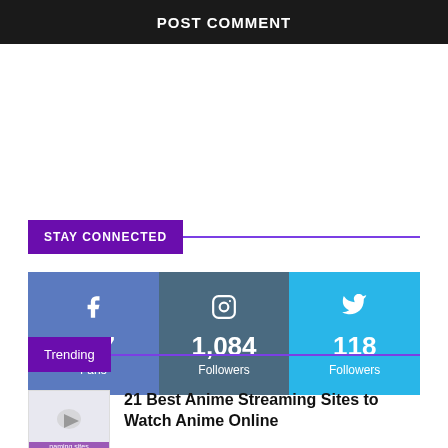POST COMMENT
STAY CONNECTED
[Figure (infographic): Social media follower counts: Facebook 377 Fans, Instagram 1,084 Followers, Twitter 118 Followers]
Trending
21 Best Anime Streaming Sites to Watch Anime Online